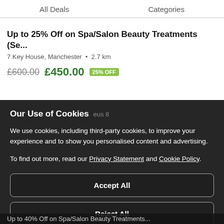All Deals    Categories
Up to 25% Off on Spa/Salon Beauty Treatments (Se...
7 Key House, Manchester • 2.7 km
£600.00  £450.00  25% OFF
Our Use of Cookies
We use cookies, including third-party cookies, to improve your experience and to show you personalised content and advertising.
To find out more, read our Privacy Statement and Cookie Policy.
Accept All
Reject All
My Options
Up to 40% Off on Spa/Salon Beauty Treatments...